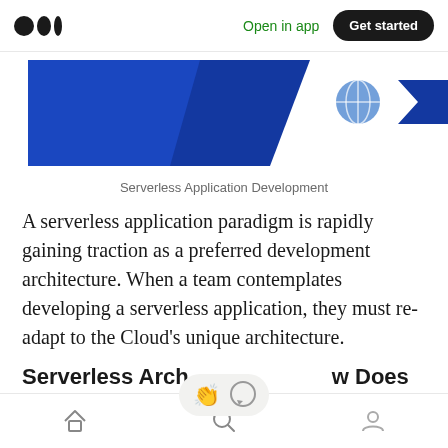Open in app  Get started
[Figure (screenshot): Partial hero image showing a blue trapezoidal banner on the left and partial icons (globe and blue arrow) on the right, representing Serverless Application Development article header image]
Serverless Application Development
A serverless application paradigm is rapidly gaining traction as a preferred development architecture. When a team contemplates developing a serverless application, they must re-adapt to the Cloud's unique architecture.
Serverless Architecture — How Does It Work?
Serverless computing is a way of building and
Home  Search  Profile